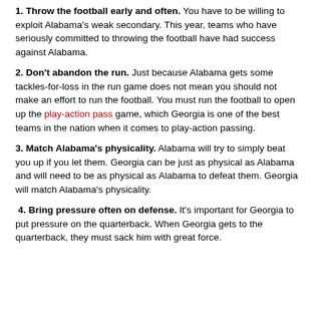1. Throw the football early and often. You have to be willing to exploit Alabama's weak secondary. This year, teams who have seriously committed to throwing the football have had success against Alabama.
2. Don't abandon the run. Just because Alabama gets some tackles-for-loss in the run game does not mean you should not make an effort to run the football. You must run the football to open up the play-action pass game, which Georgia is one of the best teams in the nation when it comes to play-action passing.
3. Match Alabama's physicality. Alabama will try to simply beat you up if you let them. Georgia can be just as physical as Alabama and will need to be as physical as Alabama to defeat them. Georgia will match Alabama's physicality.
4. Bring pressure often on defense. It's important for Georgia to put pressure on the quarterback. When Georgia gets to the quarterback, they must sack him with great force.